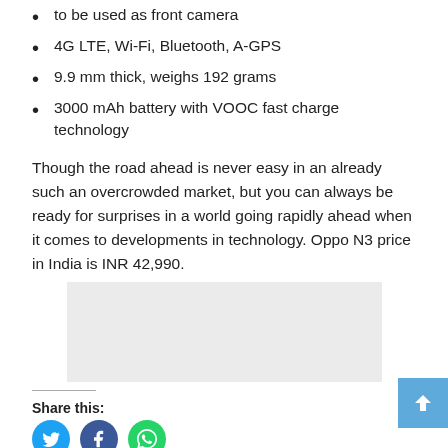to be used as front camera
4G LTE, Wi-Fi, Bluetooth, A-GPS
9.9 mm thick, weighs 192 grams
3000 mAh battery with VOOC fast charge technology
Though the road ahead is never easy in an already such an overcrowded market, but you can always be ready for surprises in a world going rapidly ahead when it comes to developments in technology. Oppo N3 price in India is INR 42,990.
[Figure (other): Advertisement placeholder box (gray rectangle)]
Share this:
[Figure (other): Social share icons: Twitter (blue circle), Facebook (dark blue circle), WhatsApp (green circle)]